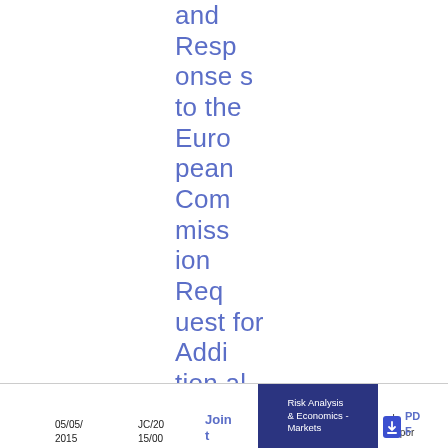and Responses to the European Commission Request for Additional Information
05/05/2015   JC/2015/00   Join t   Risk Analysis & Economics - Markets   al   Repor   PDF